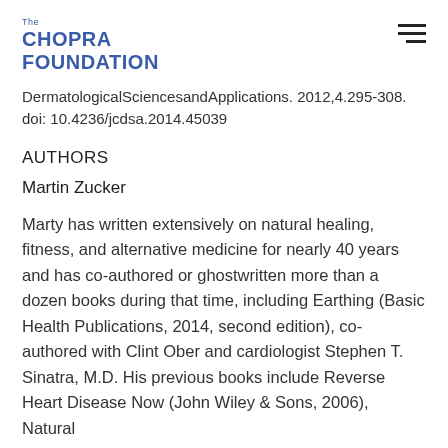The CHOPRA FOUNDATION
DermatologicalSciencesandApplications. 2012,4.295-308. doi: 10.4236/jcdsa.2014.45039
AUTHORS
Martin Zucker
Marty has written extensively on natural healing, fitness, and alternative medicine for nearly 40 years and has co-authored or ghostwritten more than a dozen books during that time, including Earthing (Basic Health Publications, 2014, second edition), co-authored with Clint Ober and cardiologist Stephen T. Sinatra, M.D. His previous books include Reverse Heart Disease Now (John Wiley & Sons, 2006), Natural